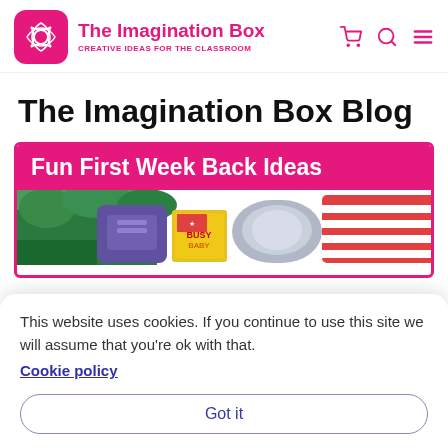The Imagination Box — CREATIVE IDEAS FOR THE CLASSROOM
The Imagination Box Blog
[Figure (screenshot): Blog post thumbnail image with pink banner reading 'Fun First Week Back Ideas' above a photo of school supplies and backpacks]
This website uses cookies. If you continue to use this site we will assume that you're ok with that. Cookie policy
Got it